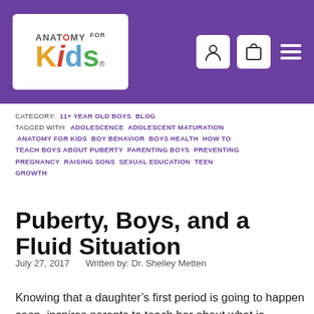[Figure (logo): Anatomy for Kids logo on purple header background with user, cart, and menu icons]
CATEGORY: 11+ YEAR OLD BOYS  BLOG
TAGGED WITH: ADOLESCENCE  ADOLESCENT MATURATION  ANATOMY FOR KIDS  BOY BEHAVIOR  BOYS HEALTH  HOW TO TEACH BOYS ABOUT PUBERTY  PARENTING BOYS  PREVENTING PREGNANCY  RAISING SONS  SEXUAL EDUCATION  TEEN GROWTH
Puberty, Boys, and a Fluid Situation
July 27, 2017   Written by: Dr. Shelley Metten
Knowing that a daughter’s first period is going to happen soon, inspires parents to teach her about what is changing in her body and how she can be